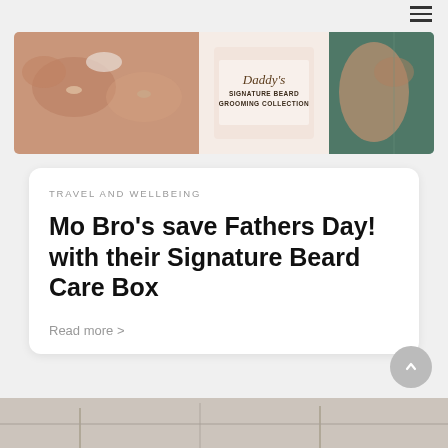≡
[Figure (photo): Banner photo showing hands holding a product labeled 'Daddy's Signature Beard Grooming Collection']
TRAVEL AND WELLBEING
Mo Bro's save Fathers Day! with their Signature Beard Care Box
Read more >
[Figure (photo): Partial bottom image visible at page edge]